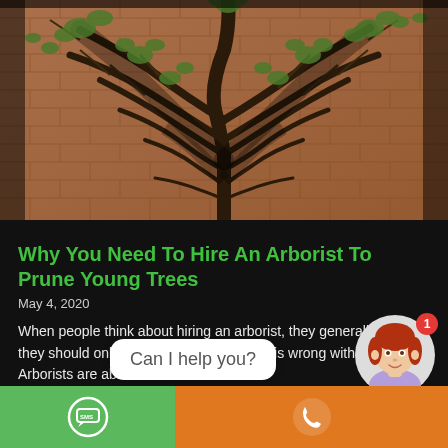[Figure (photo): A tree with spreading branches against a brick wall, with green leaves visible. Dark shadows of branches cast on the orange-brown brick surface.]
Why You Need To Hire An Arborist To Prune Young Trees
May 4, 2020
When people think about hiring an arborist, they generally think they should only do this when something is wrong with their trees. Arborists are able
Read More »
Can I help you?
[Figure (illustration): Chat widget with SMS icon on green background and phone icon on orange background, plus animated avatar of a red-haired woman with a notification badge showing 1.]